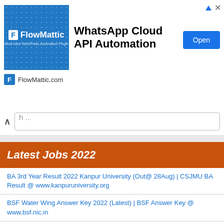[Figure (screenshot): FlowMattic advertisement banner for WhatsApp Cloud API Automation with logo, title, Open button, and FlowMattic.com footer]
h ...
Latest Jobs 2022
BA 3rd Year Result 2022 Kanpur University (Out@ 28Aug) | CSJMU BA Result @ www.kanpuruniversity.org
BSF Water Wing Answer Key 2022 (Latest) | BSF Answer Key @ www.bsf.nic.in
Infosys Previous year question papers with answers PDF download
IBM Aptitude interview Questions and Answers PDF: Get IBM Placement Papers for Freshers
Yogi Vemana University Results 2022 (Available) | YVU Degree 4th Sem Results @ www.yvuexams.in